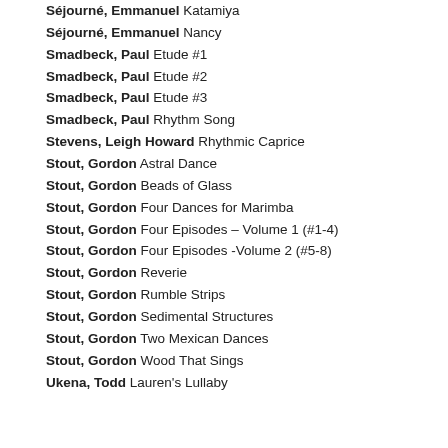Séjourné, Emmanuel Katamiya
Séjourné, Emmanuel Nancy
Smadbeck, Paul Etude #1
Smadbeck, Paul Etude #2
Smadbeck, Paul Etude #3
Smadbeck, Paul Rhythm Song
Stevens, Leigh Howard Rhythmic Caprice
Stout, Gordon Astral Dance
Stout, Gordon Beads of Glass
Stout, Gordon Four Dances for Marimba
Stout, Gordon Four Episodes – Volume 1 (#1-4)
Stout, Gordon Four Episodes -Volume 2 (#5-8)
Stout, Gordon Reverie
Stout, Gordon Rumble Strips
Stout, Gordon Sedimental Structures
Stout, Gordon Two Mexican Dances
Stout, Gordon Wood That Sings
Ukena, Todd Lauren's Lullaby